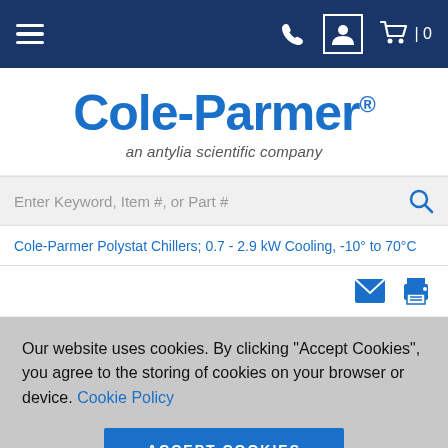Cole-Parmer navigation bar with hamburger menu, phone, account, and cart icons
[Figure (logo): Cole-Parmer logo with tagline 'an antylia scientific company']
Enter Keyword, Item #, or Part #
Cole-Parmer Polystat Chillers; 0.7 - 2.9 kW Cooling, -10° to 70°C
Our website uses cookies. By clicking "Accept Cookies", you agree to the storing of cookies on your browser or device. Cookie Policy
ACCEPT COOKIES